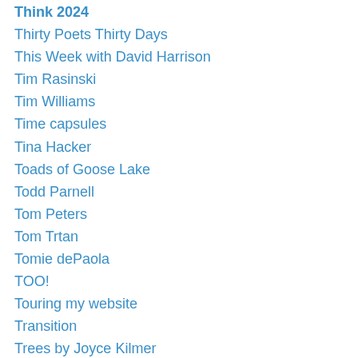Think 2024
Thirty Poets Thirty Days
This Week with David Harrison
Tim Rasinski
Tim Williams
Time capsules
Tina Hacker
Toads of Goose Lake
Todd Parnell
Tom Peters
Tom Trtan
Tomie dePaola
TOO!
Touring my website
Transition
Trees by Joyce Kilmer
Tri-Lakes Young Authors Conference
Tricia Stohr-Hunt
Trucks!
Tyler Williams